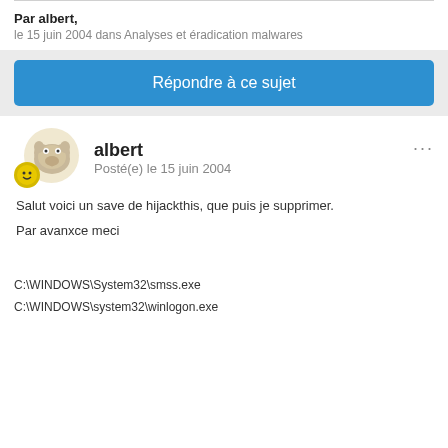Par albert,
le 15 juin 2004 dans Analyses et éradication malwares
Répondre à ce sujet
albert
Posté(e) le 15 juin 2004
Salut voici un save de hijackthis, que puis je supprimer.
Par avanxce meci
C:\WINDOWS\System32\smss.exe
C:\WINDOWS\system32\winlogon.exe